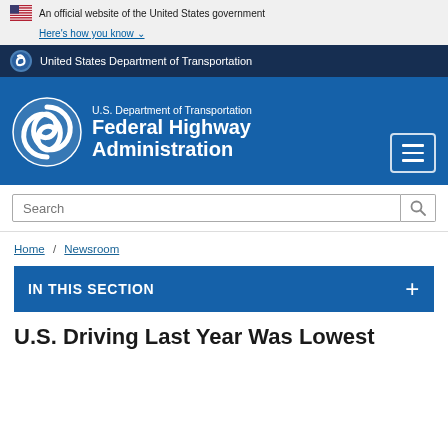An official website of the United States government Here's how you know
United States Department of Transportation
[Figure (logo): U.S. Department of Transportation Federal Highway Administration logo with circular swirl emblem]
Search
Home / Newsroom
IN THIS SECTION
U.S. Driving Last Year Was Lowest